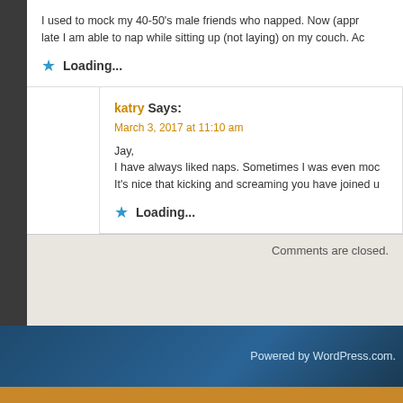I used to mock my 40-50's male friends who napped. Now (appr late I am able to nap while sitting up (not laying) on my couch. Ac
Loading...
katry Says:
March 3, 2017 at 11:10 am
Jay,
I have always liked naps. Sometimes I was even moc
It's nice that kicking and screaming you have joined u
Loading...
Comments are closed.
Powered by WordPress.com.